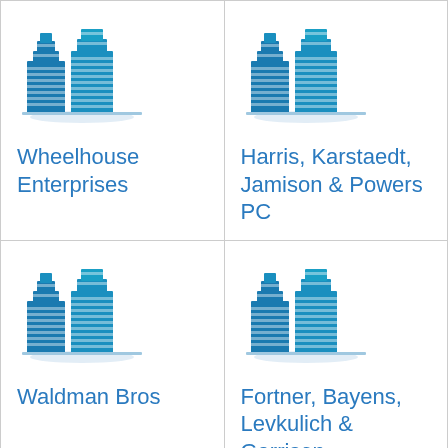[Figure (logo): Blue building/skyscraper icon for Wheelhouse Enterprises]
Wheelhouse Enterprises
[Figure (logo): Blue building/skyscraper icon for Harris, Karstaedt, Jamison & Powers PC]
Harris, Karstaedt, Jamison & Powers PC
[Figure (logo): Blue building/skyscraper icon for Waldman Bros]
Waldman Bros
[Figure (logo): Blue building/skyscraper icon for Fortner, Bayens, Levkulich & Garrison, P.C.]
Fortner, Bayens, Levkulich & Garrison, P.C.